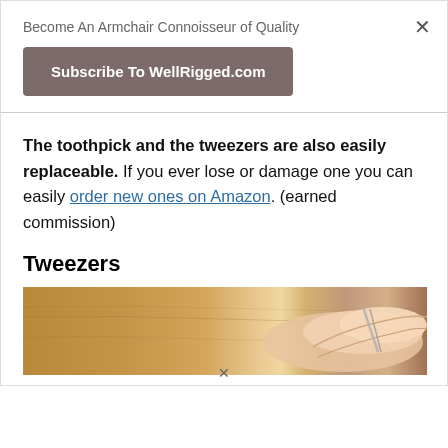Become An Armchair Connoisseur of Quality
Subscribe To WellRigged.com
The toothpick and the tweezers are also easily replaceable. If you ever lose or damage one you can easily order new ones on Amazon. (earned commission)
Tweezers
[Figure (photo): A hand holding small tweezers against a wooden surface background]